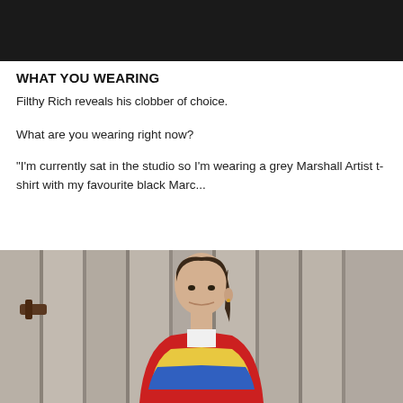[Figure (photo): Black header bar at top of page]
WHAT YOU WEARING
Filthy Rich reveals his clobber of choice.
What are you wearing right now?
“I’m currently sat in the studio so I’m wearing a grey Marshall Artist t-shirt with my favourite black Marc…
[Figure (photo): Photo of a young man with long dark hair pulled back, wearing a red collared jacket with colourful pattern, standing in front of a wooden fence/door]